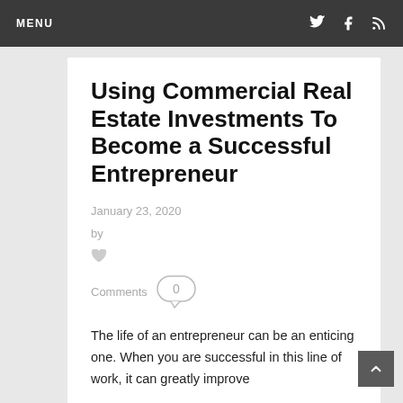MENU
Using Commercial Real Estate Investments To Become a Successful Entrepreneur
January 23, 2020
by
Comments 0
The life of an entrepreneur can be an enticing one. When you are successful in this line of work, it can greatly improve